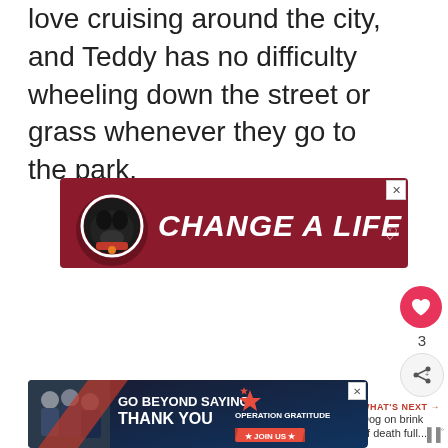love cruising around the city, and Teddy has no difficulty wheeling down the street or grass whenever they go to the park.
[Figure (illustration): Advertisement banner with red background featuring a black Labrador dog and bold italic text 'CHANGE A LIFE' in white]
[Figure (infographic): Side panel with heart/like button showing count of 3, and a share button]
[Figure (infographic): What's Next panel with thumbnail image and text 'Dog on brink of death full...']
[Figure (illustration): Advertisement banner for Operation Gratitude with navy/dark background, text 'GO BEYOND SAYING THANK YOU' with join us button and people photo]